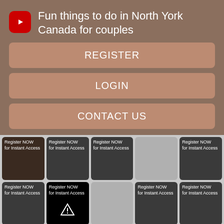Fun things to do in North York Canada for couples
REGISTER
LOGIN
CONTACT US
[Figure (screenshot): Grid of video thumbnails showing 'Register NOW for Instant Access' text on dark/grey tiles, one tile with a warning triangle icon, one tile with a person photo, and one empty light grey tile.]